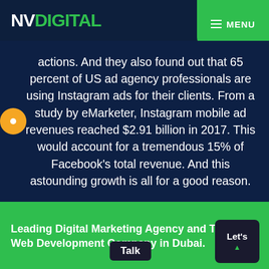NV DIGITAL | MENU
actions. And they also found out that 65 percent of US ad agency professionals are using Instagram ads for their clients. From a study by eMarketer, Instagram mobile ad revenues reached $2.91 billion in 2017. This would account for a tremendous 15% of Facebook's total revenue. And this astounding growth is all for a good reason.
Leading Digital Marketing Agency and Top Web Development Company in Dubai.
Let's Talk